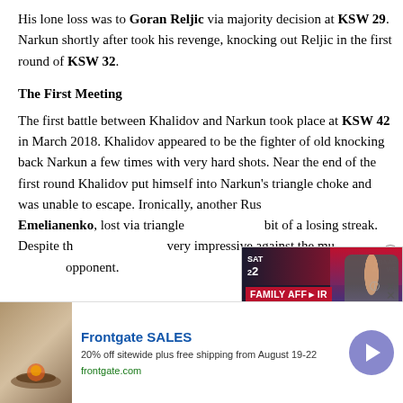His lone loss was to Goran Reljic via majority decision at KSW 29. Narkun shortly after took his revenge, knocking out Reljic in the first round of KSW 32.
The First Meeting
The first battle between Khalidov and Narkun took place at KSW 42 in March 2018. Khalidov appeared to be the fighter of old knocking back Narkun a few times with very hard shots. Near the end of the first round Khalidov put himself into Narkun's triangle choke and was unable to escape. Ironically, another Rus... Emelianenko, lost via triangle... bit of a losing streak. Despite th... very impressive against the mu... opponent.
[Figure (screenshot): Video overlay ad: 'FAMILY AFFAIR' with image of a fighter, Muhammad Ali's grandson gets ready for San Diego bout]
[Figure (screenshot): Bottom banner advertisement: Frontgate SALES - 20% off sitewide plus free shipping from August 19-22, frontgate.com]